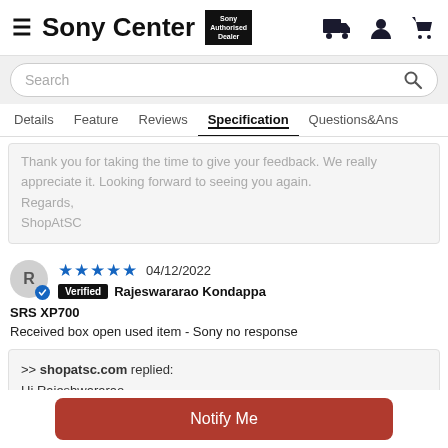Sony Center | Sony Authorised Dealer
Search
Details   Feature   Reviews   Specification   Questions&Ans
Thank you for taking the time to give your feedback. We really appreciate it. Looking forward to seeing you again. Regards, ShopAtSC
★★★★★ 04/12/2022  Verified  Rajeswararao Kondappa
SRS XP700
Received box open used item - Sony no response
>> shopatsc.com replied:
Hi Rajeshwararao,
Notify Me